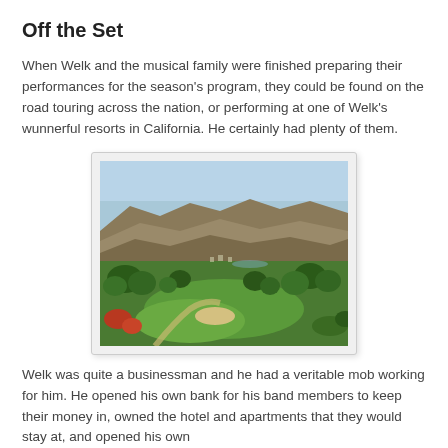Off the Set
When Welk and the musical family were finished preparing their performances for the season's program, they could be found on the road touring across the nation, or performing at one of Welk's wunnerful resorts in California. He certainly had plenty of them.
[Figure (photo): Aerial landscape photograph showing a lush green golf course or resort grounds surrounded by rolling hills and trees in California. The scene features a broad green valley with scattered oak trees, a sand trap visible in the foreground, and brown dry hills in the background under a light blue sky.]
Welk was quite a businessman and he had a veritable mob working for him. He opened his own bank for his band members to keep their money in, owned the hotel and apartments that they would stay at, and opened his own